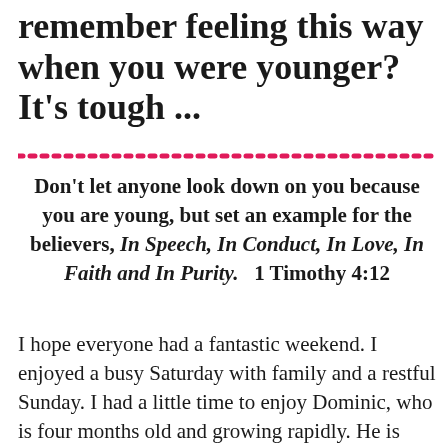remember feeling this way when you were younger? It's tough ...
Don't let anyone look down on you because you are young, but set an example for the believers, In Speech, In Conduct, In Love, In Faith and In Purity.   1 Timothy 4:12
I hope everyone had a fantastic weekend.  I enjoyed a busy Saturday with family and a restful Sunday.  I had a little time to enjoy Dominic, who is four months old and growing rapidly.  He is also calming down a bit.  He